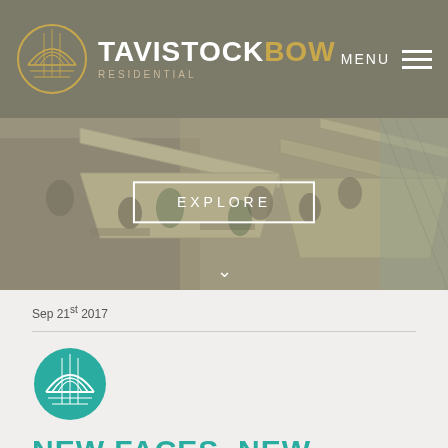TAVISTOCK BOW RESIDENTIAL — MENU
[Figure (photo): Aerial view of an outdoor cafe terrace with large cream parasols/umbrellas and people dining, warm toned]
EXPLORE
Sep 21st 2017
[Figure (logo): Tavistock Bow circular logo — teal/green circle with architectural arch and grid pattern]
NEW FACES, NEW PLACES